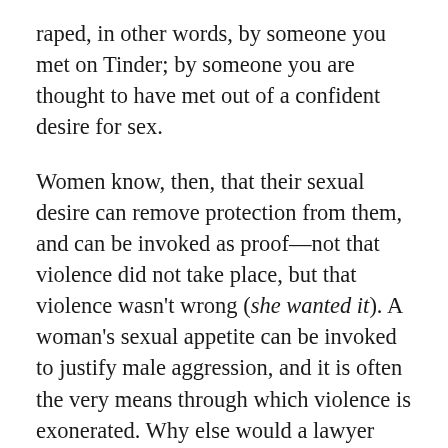raped, in other words, by someone you met on Tinder; by someone you are thought to have met out of a confident desire for sex.
Women know, then, that their sexual desire can remove protection from them, and can be invoked as proof—not that violence did not take place, but that violence wasn't wrong (she wanted it). A woman's sexual appetite can be invoked to justify male aggression, and it is often the very means through which violence is exonerated. Why else would a lawyer hold up a rape complainant's underwear in court? In a trial in Ireland in which a seventeen-year-old alleged a twenty-seven-year-old man had committed rape, a female counsel did precisely this, saying 'You have to look at the way she was